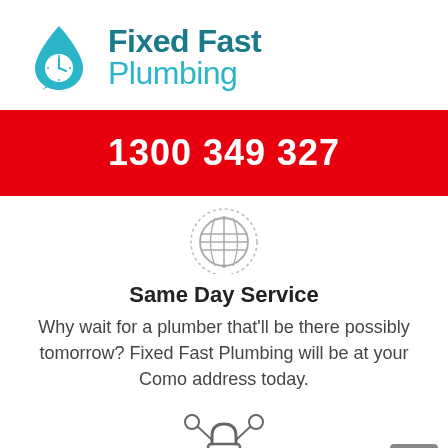[Figure (logo): Fixed Fast Plumbing logo with teal water drop and clock icon, company name in teal]
1300 349 327
[Figure (illustration): Globe/world icon with dotted circle border, grey]
Same Day Service
Why wait for a plumber that'll be there possibly tomorrow? Fixed Fast Plumbing will be at your Como address today.
[Figure (illustration): Lock icon with connected nodes, grey outline]